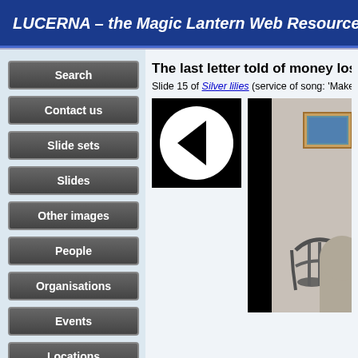LUCERNA – the Magic Lantern Web Resource
Search
Contact us
The last letter told of money losses
Slide 15 of Silver lilies (service of song: 'Maker 03', 24
[Figure (screenshot): Navigation back button - black square with white circle containing left-pointing triangle]
[Figure (photo): Partial view of a photograph showing a dark frame around a light interior with a small framed picture on wall and a chair]
Slide sets
Slides
Other images
People
Organisations
Events
Locations